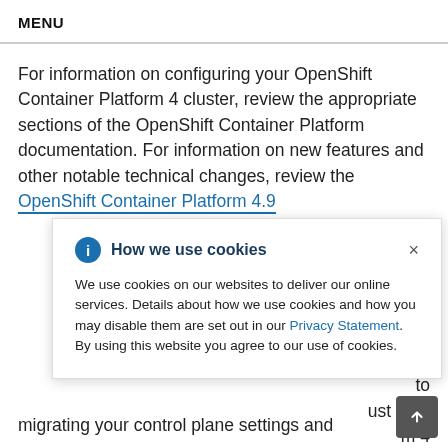MENU
For information on configuring your OpenShift Container Platform 4 cluster, review the appropriate sections of the OpenShift Container Platform documentation. For information on new features and other notable technical changes, review the OpenShift Container Platform 4.9
[Figure (screenshot): Cookie consent popup dialog with title 'How we use cookies', an info icon, a close button (×), and body text: 'We use cookies on our websites to deliver our online services. Details about how we use cookies and how you may disable them are set out in our Privacy Statement. By using this website you agree to our use of cookies.']
migrating your control plane settings and